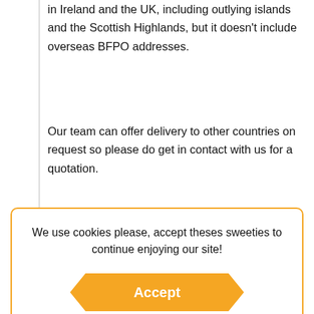in Ireland and the UK, including outlying islands and the Scottish Highlands, but it doesn't include overseas BFPO addresses.
Our team can offer delivery to other countries on request so please do get in contact with us for a quotation.
Please allow 1-3 days delivery for your order if you live
We use cookies please, accept theses sweeties to continue enjoying our site!